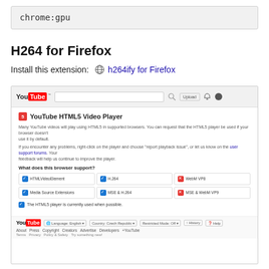chrome:gpu
H264 for Firefox
Install this extension: h264ify for Firefox
[Figure (screenshot): Screenshot of YouTube HTML5 Video Player settings page showing browser support checkboxes: HTMLVideoElement (checked), H.264 (checked), WebM VP8 (red/unsupported), Media Source Extensions (checked), MSE & H.264 (checked), MSE & WebM VP9 (red/unsupported). Footer shows YouTube logo, Language English, Country: Czech Republic, Restricted Mode: Off, History, Help links. Bottom links: About, Press, Copyright, Creators, Advertise, Developers, +YouTube, Terms, Privacy, Policy & Safety, Try something new!]